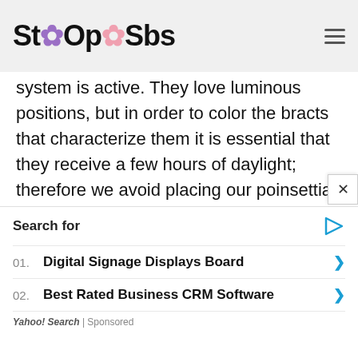StoOpSbs
system is active. They love luminous positions, but in order to color the bracts that characterize them it is essential that they receive a few hours of daylight; therefore we avoid placing our poinsettia in a room with strong lighting, even occasional lighting due to electric light can delay flowering, and our plant will keep all the green leaves.
This does not mean that these plants should be placed in a shady place, in fact during the natural hours of sunlight it is
Search for
01. Digital Signage Displays Board
02. Best Rated Business CRM Software
Yahoo! Search | Sponsored